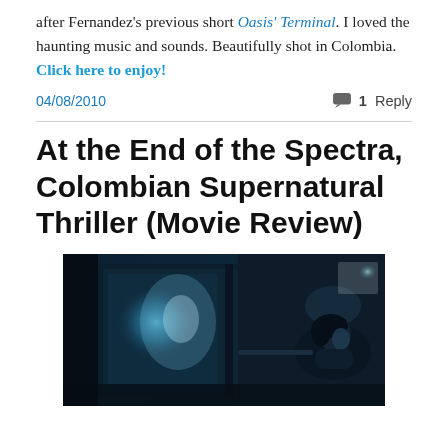after Fernandez's previous short Oasis' Terminal. I loved the haunting music and sounds. Beautifully shot in Colombia. Click here to enjoy!
04/08/2010   1 Reply
At the End of the Spectra, Colombian Supernatural Thriller (Movie Review)
[Figure (photo): Dark cinematic still from a movie showing a figure near a window with blue-tinted lighting, atmospheric and moody.]